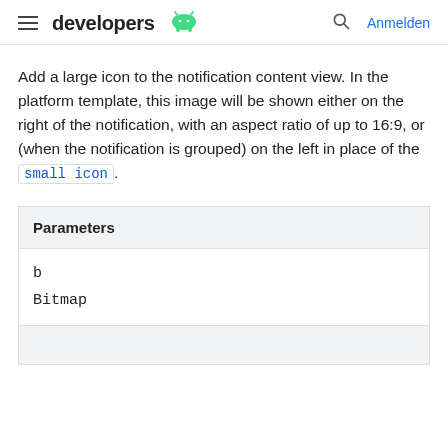developers  Anmelden
Add a large icon to the notification content view. In the platform template, this image will be shown either on the right of the notification, with an aspect ratio of up to 16:9, or (when the notification is grouped) on the left in place of the small icon.
| Parameters |
| --- |
| b |
| Bitmap |